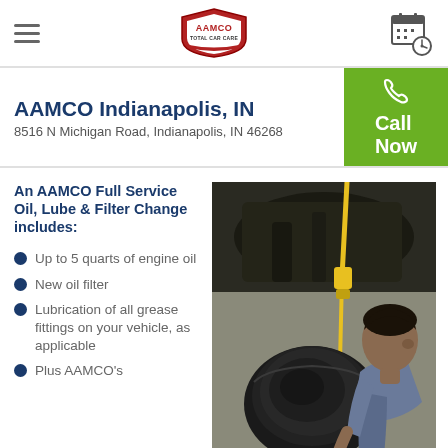[Figure (logo): AAMCO logo and hamburger menu with calendar/schedule icon in nav bar]
AAMCO Indianapolis, IN
8516 N Michigan Road, Indianapolis, IN 46268
Call Now
An AAMCO Full Service Oil, Lube & Filter Change includes:
Up to 5 quarts of engine oil
New oil filter
Lubrication of all grease fittings on your vehicle, as applicable
Plus AAMCO's
[Figure (photo): A mechanic performing an oil change, draining oil from a vehicle into a black drain pan, viewed from below the car]